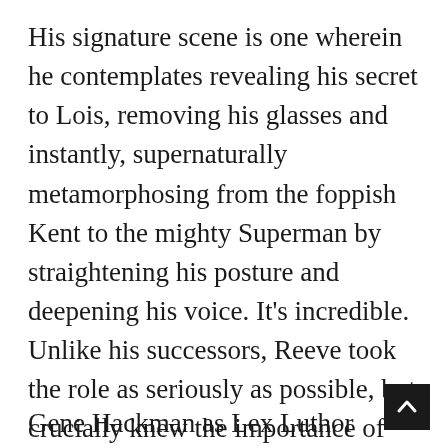His signature scene is one wherein he contemplates revealing his secret to Lois, removing his glasses and instantly, supernaturally metamorphosing from the foppish Kent to the mighty Superman by straightening his posture and deepening his voice. It's incredible. Unlike his successors, Reeve took the role as seriously as possible, but crucially knew the importance of wonder and joy. Where Routh and Cavill's miserably dour Supermen sank, Christopher Reeve's smiling champion soars forever. His is and may always be the greatest onscreen portrayal of a superhero
Gene Hackman as Lex Luthor is unfairly